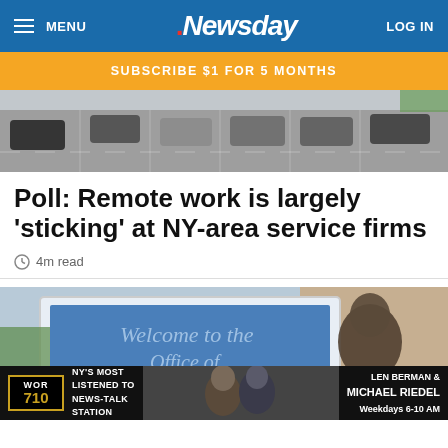MENU | Newsday | LOG IN
SUBSCRIBE $1 FOR 5 MONTHS
[Figure (photo): Aerial view of a parking lot with cars]
Poll: Remote work is largely 'sticking' at NY-area service firms
4m read
[Figure (photo): Welcome to the Office of sign with a person in background]
[Figure (infographic): WOR 710 radio ad banner: NY'S MOST LISTENED TO NEWS-TALK STATION. LEN BERMAN & MICHAEL RIEDEL Weekdays 6-10 AM]